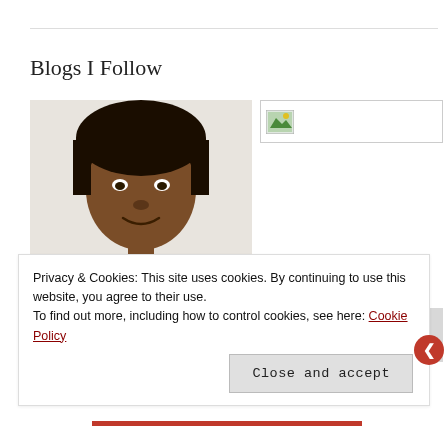Blogs I Follow
[Figure (photo): Selfie photo of a person with dark hair wearing a navy blue shirt, looking at the camera, taken indoors.]
[Figure (screenshot): Small image placeholder icon (broken/loading image icon with green landscape thumbnail)]
[Figure (other): Gray rectangular placeholder block]
Privacy & Cookies: This site uses cookies. By continuing to use this website, you agree to their use. To find out more, including how to control cookies, see here: Cookie Policy
Close and accept